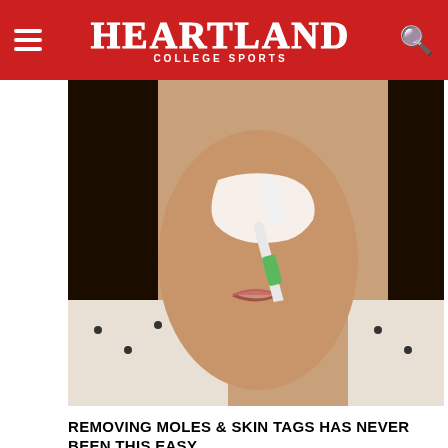Heartland College Sports
[Figure (photo): Woman applying white cream/paste to her face with a toothbrush, wearing a white and black dotted shirt, dark hair]
REMOVING MOLES & SKIN TAGS HAS NEVER BEEN THIS EASY
By Mole & Skin Tag Removal
[Figure (photo): Close-up of a metal spoon containing garlic cloves and olive oil or liquid mixture]